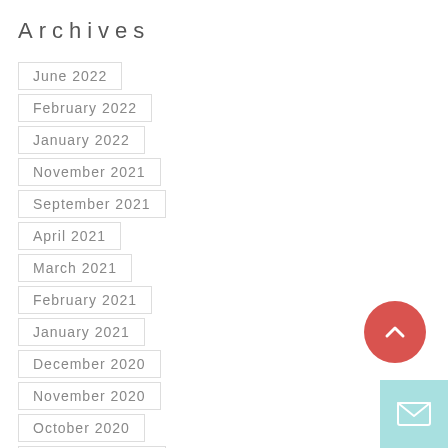Archives
June 2022
February 2022
January 2022
November 2021
September 2021
April 2021
March 2021
February 2021
January 2021
December 2020
November 2020
October 2020
September 2020
[Figure (illustration): Red circular scroll-to-top button with upward chevron arrow icon]
[Figure (illustration): Teal/cyan square mail/envelope button icon]